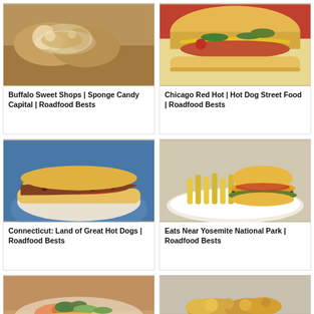[Figure (photo): Sponge candy / sweet baked item on wooden surface]
Buffalo Sweet Shops | Sponge Candy Capital | Roadfood Bests
[Figure (photo): Chicago-style hot dog with toppings in bun, close-up]
Chicago Red Hot | Hot Dog Street Food | Roadfood Bests
[Figure (photo): Chili cheese hot dog on blue plate]
Connecticut: Land of Great Hot Dogs | Roadfood Bests
[Figure (photo): Burger with fries on white plate, topped with cheese and lettuce]
Eats Near Yosemite National Park | Roadfood Bests
[Figure (photo): Lobster or seafood dish with greens on plate]
[Figure (photo): Fried food items on light surface]